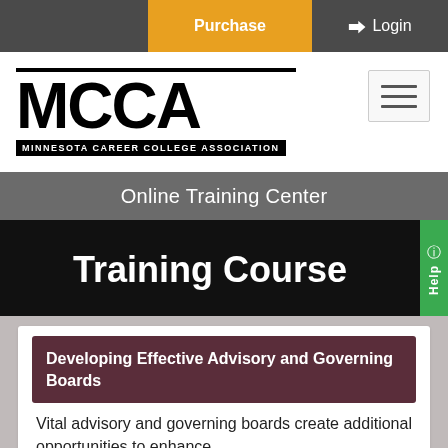Purchase   Login
[Figure (logo): MCCA - Minnesota Career College Association logo with thick black lines and bold MCCA text]
Online Training Center
Training Course
Developing Effective Advisory and Governing Boards
Vital advisory and governing boards create additional opportunities to enhance